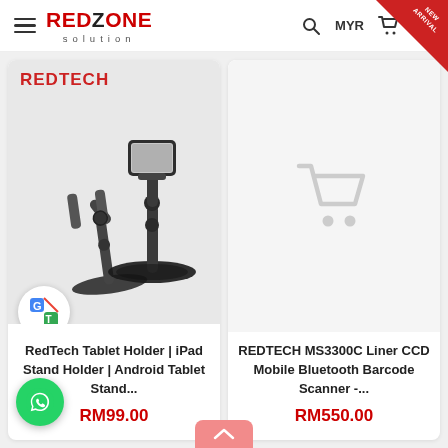RedZone Solution — MYR
[Figure (screenshot): Product listing page for RedZone Solution e-commerce website showing two products: 'RedTech Tablet Holder | iPad Stand Holder | Android Tablet Stand...' priced at RM99.00, and 'REDTECH MS3300C Liner CCD Mobile Bluetooth Barcode Scanner -...' priced at RM550.00. The left product has a product image of two tablet stands. The right product shows an empty cart placeholder icon. A Google Translate badge overlay appears on the left card. A WhatsApp floating action button appears at the bottom left. A 'NEW ARRIVAL' ribbon appears at the top right corner.]
RedTech Tablet Holder | iPad Stand Holder | Android Tablet Stand...
RM99.00
REDTECH MS3300C Liner CCD Mobile Bluetooth Barcode Scanner -...
RM550.00